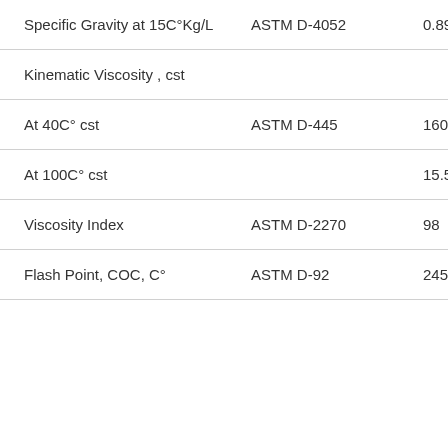| Property | Test Method | Value |
| --- | --- | --- |
| Specific Gravity at 15C°Kg/L | ASTM D-4052 | 0.89 |
| Kinematic Viscosity , cst |  |  |
| At 40C° cst | ASTM D-445 | 160.0 |
| At 100C° cst |  | 15.5 |
| Viscosity Index | ASTM D-2270 | 98 |
| Flash Point, COC, C° | ASTM D-92 | 245 |